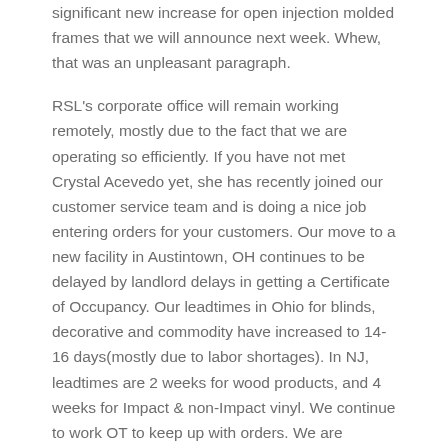significant new increase for open injection molded frames that we will announce next week. Whew, that was an unpleasant paragraph.
RSL's corporate office will remain working remotely, mostly due to the fact that we are operating so efficiently. If you have not met Crystal Acevedo yet, she has recently joined our customer service team and is doing a nice job entering orders for your customers. Our move to a new facility in Austintown, OH continues to be delayed by landlord delays in getting a Certificate of Occupancy. Our leadtimes in Ohio for blinds, decorative and commodity have increased to 14-16 days(mostly due to labor shortages). In NJ, leadtimes are 2 weeks for wood products, and 4 weeks for Impact & non-Impact vinyl. We continue to work OT to keep up with orders. We are concerned that ODL has begun to gain BBG market share with aggressively low pricing. Please